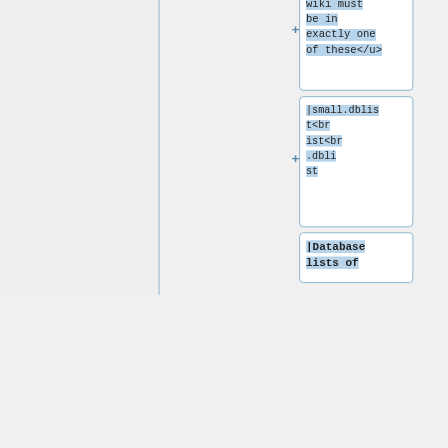[Figure (flowchart): A flowchart/diagram showing wiki categorization boxes. A yellow/cream box at top-left reads 'should be listed in here'. A blue-outlined box at top-right is empty. Below are two small blue boxes each with a '+' symbol. Then a larger blue box with '+' and text '<u>Every wiki must be in exactly one of these</u>'. Then a blue box with '+' and text '|small.dblist<br />medium.dblist<br />large.dblist'. Then a blue box with text '|Database lists of'.]